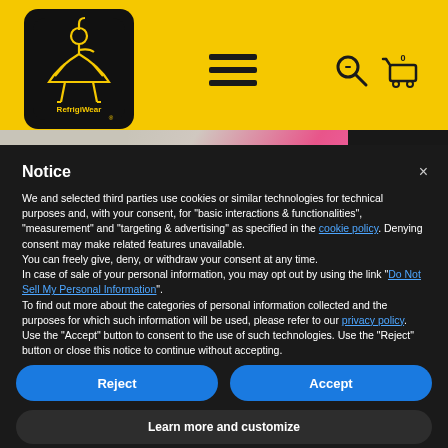[Figure (logo): RefrigiWear logo - black square with yellow outline figure of person on a hanger with brand name]
[Figure (screenshot): Yellow navigation header with hamburger menu icon, search icon, and cart icon with 0 items]
[Figure (photo): Partial hero image showing person wearing pink top against dark background]
Notice
We and selected third parties use cookies or similar technologies for technical purposes and, with your consent, for "basic interactions & functionalities", "measurement" and "targeting & advertising" as specified in the cookie policy. Denying consent may make related features unavailable.
You can freely give, deny, or withdraw your consent at any time.
In case of sale of your personal information, you may opt out by using the link "Do Not Sell My Personal Information".
To find out more about the categories of personal information collected and the purposes for which such information will be used, please refer to our privacy policy.
Use the "Accept" button to consent to the use of such technologies. Use the "Reject" button or close this notice to continue without accepting.
Reject
Accept
Learn more and customize